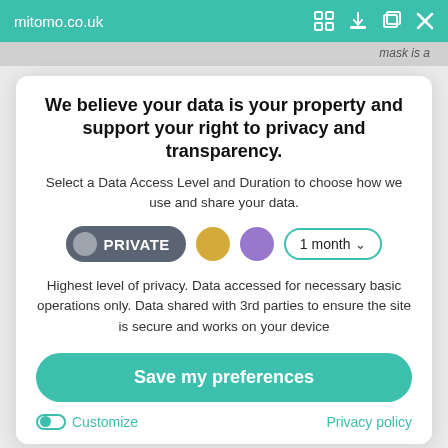mitomo.co.uk
[Figure (screenshot): Browser toolbar overlay with teal/green background showing mitomo.co.uk URL and browser action icons]
We believe your data is your property and support your right to privacy and transparency.
Select a Data Access Level and Duration to choose how we use and share your data.
[Figure (infographic): Privacy level selector row with PRIVATE dark pill button, gold circle, purple circle, and 1 month dropdown]
Highest level of privacy. Data accessed for necessary basic operations only. Data shared with 3rd parties to ensure the site is secure and works on your device
Save my preferences
Customize
Privacy policy